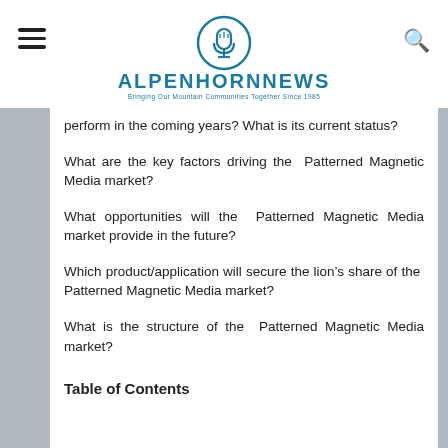ALPENHORNNEWS — Bringing Our Mountain Communities Together Since 1985
perform in the coming years? What is its current status?
What are the key factors driving the Patterned Magnetic Media market?
What opportunities will the Patterned Magnetic Media market provide in the future?
Which product/application will secure the lion's share of the Patterned Magnetic Media market?
What is the structure of the Patterned Magnetic Media market?
Table of Contents